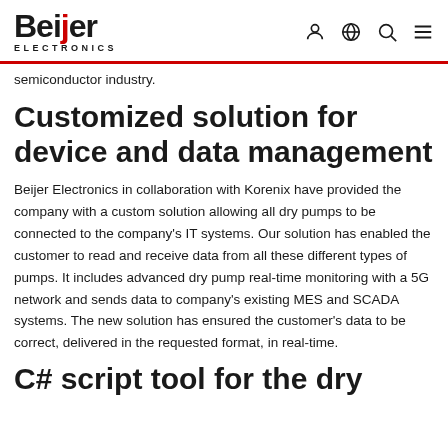Beijer ELECTRONICS
semiconductor industry.
Customized solution for device and data management
Beijer Electronics in collaboration with Korenix have provided the company with a custom solution allowing all dry pumps to be connected to the company's IT systems. Our solution has enabled the customer to read and receive data from all these different types of pumps. It includes advanced dry pump real-time monitoring with a 5G network and sends data to company's existing MES and SCADA systems. The new solution has ensured the customer's data to be correct, delivered in the requested format, in real-time.
C# script tool for the dry pump